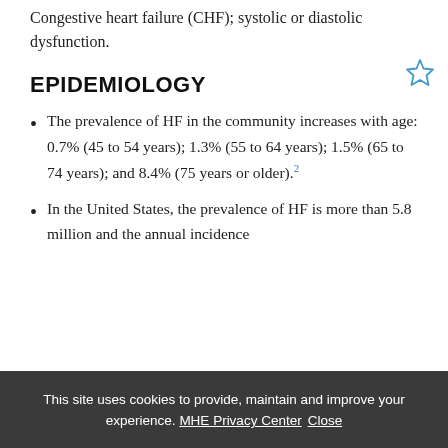Congestive heart failure (CHF); systolic or diastolic dysfunction.
EPIDEMIOLOGY
The prevalence of HF in the community increases with age: 0.7% (45 to 54 years); 1.3% (55 to 64 years); 1.5% (65 to 74 years); and 8.4% (75 years or older).²
In the United States, the prevalence of HF is more than 5.8 million and the annual incidence
This site uses cookies to provide, maintain and improve your experience. MHE Privacy Center  Close